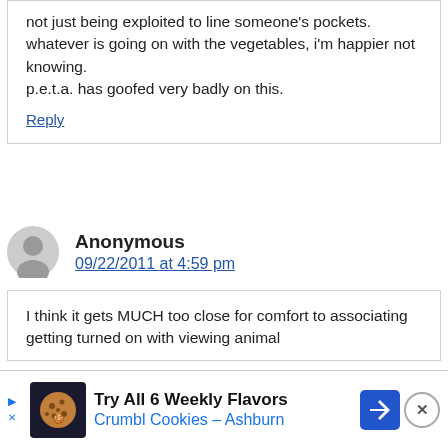not just being exploited to line someone's pockets. whatever is going on with the vegetables, i'm happier not knowing. p.e.t.a. has goofed very badly on this.
Reply
Anonymous
09/22/2011 at 4:59 pm
I think it gets MUCH too close for comfort to associating getting turned on with viewing animal
Try All 6 Weekly Flavors Crumbl Cookies – Ashburn